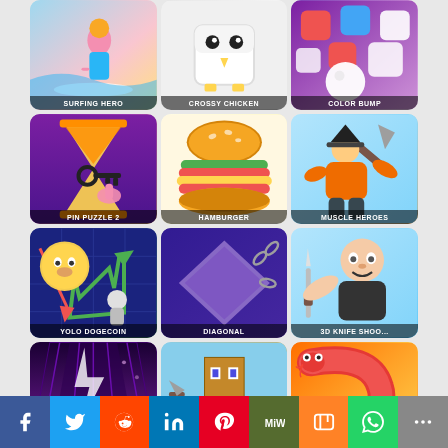[Figure (screenshot): Surfing Hero game tile - girl surfing on wave]
SURFING HERO
[Figure (screenshot): Crossy Chicken game tile - white cube chicken]
CROSSY CHICKEN
[Figure (screenshot): Color Bump game tile - white ball and colored blocks]
COLOR BUMP
[Figure (screenshot): Pin Puzzle 2 game tile - hourglass with key]
PIN PUZZLE 2
[Figure (screenshot): Hamburger game tile - stacked burger]
HAMBURGER
[Figure (screenshot): Muscle Heroes game tile - muscular man with pickaxe]
MUSCLE HEROES
[Figure (screenshot): Yolo Dogecoin game tile - doge coin character]
YOLO DOGECOIN
[Figure (screenshot): Diagonal game tile - purple diamond shape]
DIAGONAL
[Figure (screenshot): 3D Knife Shoot game tile - bald man with knife]
3D KNIFE SHOO...
[Figure (screenshot): Neon Guitar game tile - dark music game]
NEON GUITAR
[Figure (screenshot): Minecraft Rush game tile - Minecraft character running]
MINECRAFT RUSH
[Figure (screenshot): Red Snake 3D game tile - red snake on orange background]
RED SNAKE 3D
[Figure (infographic): Social media sharing buttons: Facebook, Twitter, Reddit, LinkedIn, Pinterest, MW, Mix, WhatsApp, More]